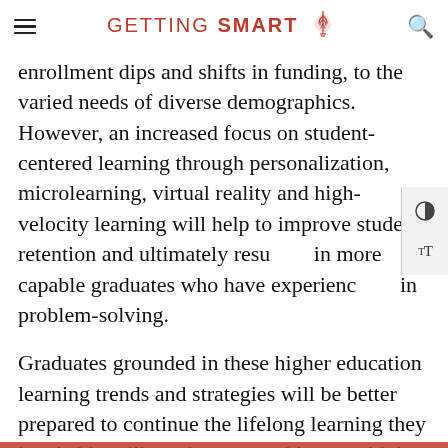GETTING SMART
enrollment dips and shifts in funding, to the varied needs of diverse demographics. However, an increased focus on student-centered learning through personalization, microlearning, virtual reality and high-velocity learning will help to improve student retention and ultimately result in more capable graduates who have experienced in problem-solving.
Graduates grounded in these higher education learning trends and strategies will be better prepared to continue the lifelong learning they inevitably will need to succeed in a world that continually evolves.